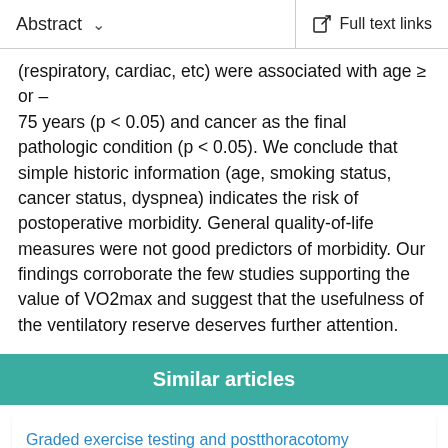Abstract   Full text links
(respiratory, cardiac, etc) were associated with age ≥ or = 75 years (p < 0.05) and cancer as the final pathologic condition (p < 0.05). We conclude that simple historic information (age, smoking status, cancer status, dyspnea) indicates the risk of postoperative morbidity. General quality-of-life measures were not good predictors of morbidity. Our findings corroborate the few studies supporting the value of VO2max and suggest that the usefulness of the ventilatory reserve deserves further attention.
Similar articles
Graded exercise testing and postthoracotomy complications.
Boysen PG, et al. J Cardiothorac Anesth. 1990.